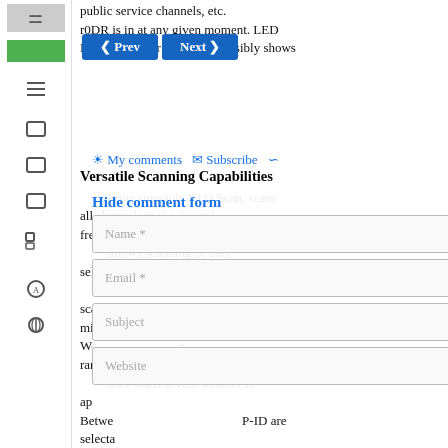public service channels, etc. r0DR is in at any given moment. LED Mode-indicator clearly and visibly shows
Versatile Scanning Capabilities
Programmable VFO Scan, scans all channels in the desired frequency range. Memory scan allows scanning of user selectable frequencies. Priority Channel Scan can be used to scan the memory channels while maintaining other activity. But, the Transceiver also alerts the user when severe weather is approaching. Between groups, DG-ID and DP-ID are selectable, providing flexibility so that users can enjoy group communication.
Automatic Mode Select (AMS)
function detects the receive signal type... selects one of the four... The AMS operational function detects the receive signal.